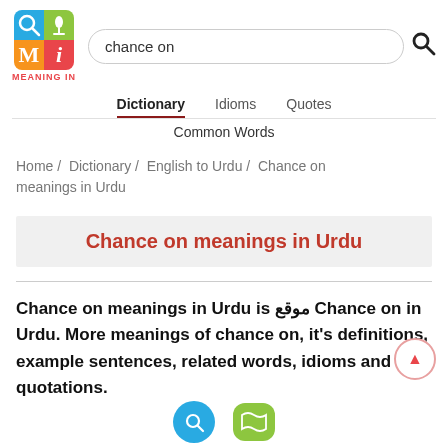[Figure (logo): Meaning In app logo - 2x2 colored grid with magnifying glass, mic, M, i icons]
chance on
Dictionary   Idioms   Quotes
Common Words
Home / Dictionary / English to Urdu / Chance on meanings in Urdu
Chance on meanings in Urdu
Chance on meanings in Urdu is موقع Chance on in Urdu. More meanings of chance on, it's definitions, example sentences, related words, idioms and quotations.